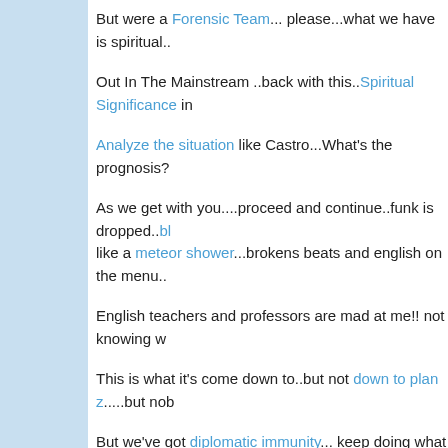But were a Forensic Team... please...what we have is spiritual...
Out In The Mainstream ..back with this..Spiritual Significance in
Analyze the situation like Castro...What's the prognosis?
As we get with you....proceed and continue..funk is dropped..bl like a meteor shower...brokens beats and english on the menu..
English teachers and professors are mad at me!! not knowing w
This is what it's come down to..but not down to plan z.....but nob
But we've got diplomatic immunity... keep doing what we do...ca
Standing our ground....also going in...slipping through the crack
Standing our ground...taking care of business... haters will stres unravel you.
It's the Babylon wilderness we travel through...the situation is cr they say there's a security breach.